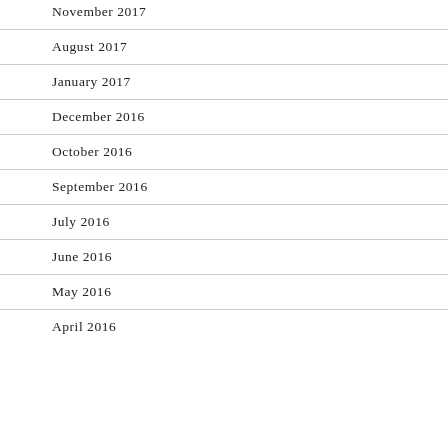November 2017
August 2017
January 2017
December 2016
October 2016
September 2016
July 2016
June 2016
May 2016
April 2016